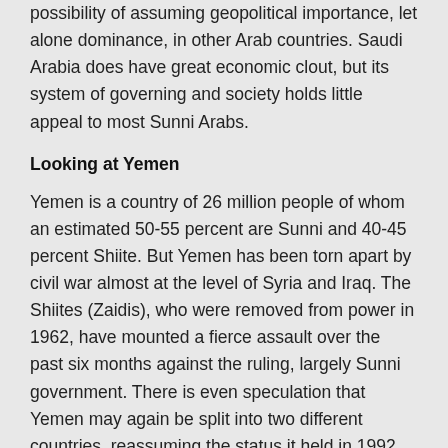possibility of assuming geopolitical importance, let alone dominance, in other Arab countries. Saudi Arabia does have great economic clout, but its system of governing and society holds little appeal to most Sunni Arabs.
Looking at Yemen
Yemen is a country of 26 million people of whom an estimated 50-55 percent are Sunni and 40-45 percent Shiite. But Yemen has been torn apart by civil war almost at the level of Syria and Iraq. The Shiites (Zaidis), who were removed from power in 1962, have mounted a fierce assault over the past six months against the ruling, largely Sunni government. There is even speculation that Yemen may again be split into two different countries, reassuming the status it held in 1992.